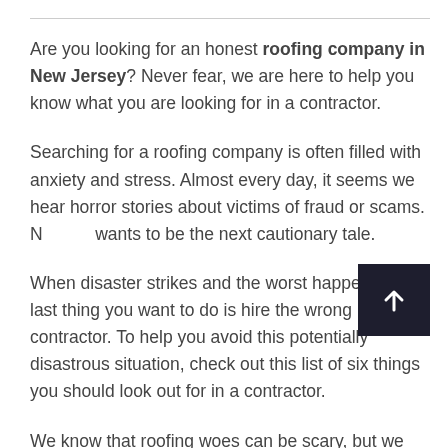Are you looking for an honest roofing company in New Jersey? Never fear, we are here to help you know what you are looking for in a contractor.
Searching for a roofing company is often filled with anxiety and stress. Almost every day, it seems we hear horror stories about victims of fraud or scams. Nobody wants to be the next cautionary tale.
When disaster strikes and the worst happens, the last thing you want to do is hire the wrong contractor. To help you avoid this potentially disastrous situation, check out this list of six things you should look out for in a contractor.
We know that roofing woes can be scary, but we strive to be a roofing company residents can trust. If you need